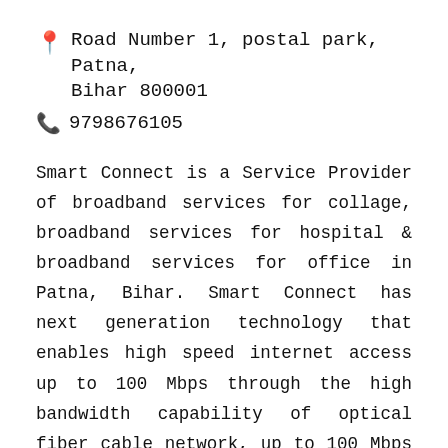📍 Road Number 1, postal park, Patna, Bihar 800001
📞 9798676105
Smart Connect is a Service Provider of broadband services for collage, broadband services for hospital & broadband services for office in Patna, Bihar. Smart Connect has next generation technology that enables high speed internet access up to 100 Mbps through the high bandwidth capability of optical fiber cable network, up to 100 Mbps through the high bandwidth capability of WiFi network, up to 100 Mbps through the